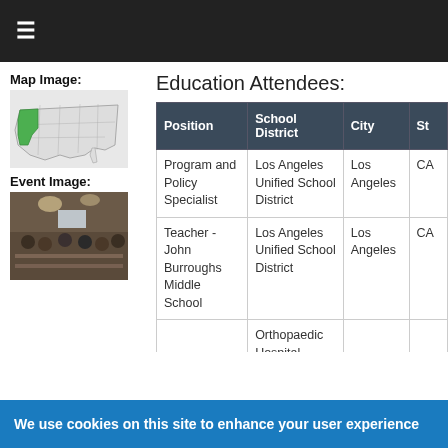≡
Map Image:
[Figure (map): Map of United States with California highlighted in green]
Event Image:
[Figure (photo): Photo of event attendees seated at tables in a conference room]
Education Attendees:
| Position | School District | City | St |
| --- | --- | --- | --- |
| Program and Policy Specialist | Los Angeles Unified School District | Los Angeles | CA |
| Teacher - John Burroughs Middle School | Los Angeles Unified School District | Los Angeles | CA |
|  | Orthopaedic Hospital |  |  |
We use cookies on this site to enhance your user experience